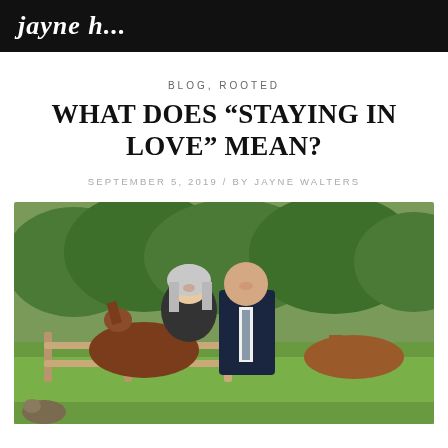jayne hu [logo/brand name]
BLOG, ROOTED
WHAT DOES “STAYING IN LOVE” MEAN?
SEPTEMBER 5, 2019 / BY JAYNE WALTERS
[Figure (photo): A couple (woman with gray-blonde hair in black outfit, man in dark suit with gray tie) standing outdoors in front of a wooden fence with horses and green trees in the background.]